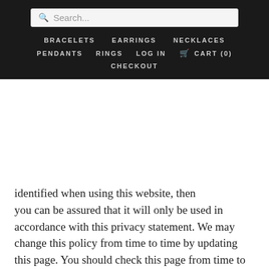Search... | BRACELETS | EARRINGS | NECKLACES | PENDANTS | RINGS | LOG IN | CART (0) | CHECKOUT
identified when using this website, then you can be assured that it will only be used in accordance with this privacy statement. We may change this policy from time to time by updating this page. You should check this page from time to time to ensure that you are happy with any changes.
WHAT WE COLLECT
We may collect the following information: